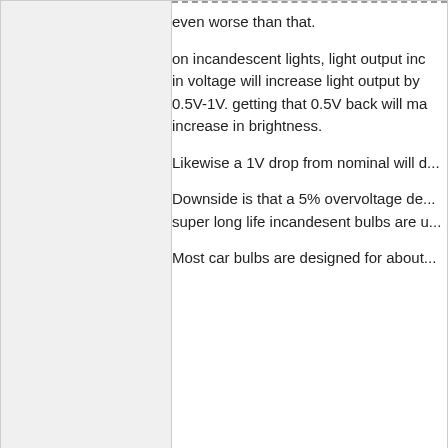even worse than that.

on incandescent lights, light output increases strongly with voltage. a 5% increase in voltage will increase light output by about 20%. most car electrical systems run 0.5V-1V. getting that 0.5V back will make a fairly significant, but not blinding increase in brightness.

Likewise a 1V drop from nominal will d...

Downside is that a 5% overvoltage decreases bulb life dramatically. that's why super long life incandesent bulbs are u...

Most car bulbs are designed for about...
BobsYourUncle
Calgary Alberta Canada
Senior Member
Joined: 12/12/2003
View Profile
Offline
Posted: 01/21/21 10:22pm

I'm thinking about something like this. Or
This
I have to search for 2006 instead of 20... up.

Anyone know anything about Spyder a... Then I can decide what bulbs to put in...